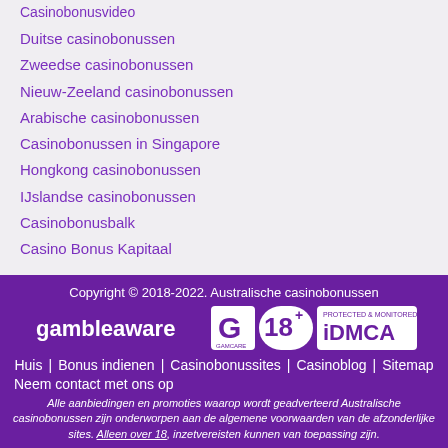Casinobonusvideo
Duitse casinobonussen
Zweedse casinobonussen
Nieuw-Zeeland casinobonussen
Arabische casinobonussen
Casinobonussen in Singapore
Hongkong casinobonussen
IJslandse casinobonussen
Casinobonusbalk
Casino Bonus Kapitaal
Copyright © 2018-2022. Australische casinobonussen
gambleaware GAMCARE 18+ PROTECTED & MONITORED DMCA
Huis | Bonus indienen | Casinobonussites | Casinoblog | Sitemap
Neem contact met ons op
Alle aanbiedingen en promoties waarop wordt geadverteerd Australische casinobonussen zijn onderworpen aan de algemene voorwaarden van de afzonderlijke sites. Alleen over 18, inzetvereisten kunnen van toepassing zijn.